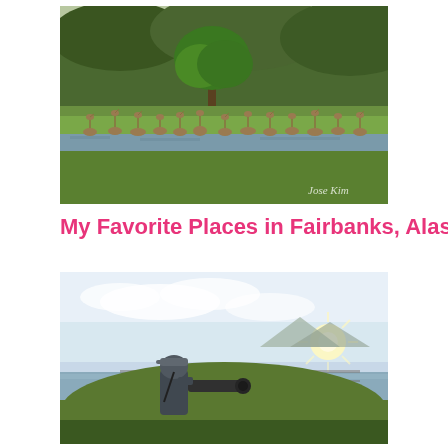[Figure (photo): Flock of sandhill cranes gathered near a pond in a green field with a single large tree in the background and forested hills behind. Watermark reads 'Jose Kim' in bottom right corner.]
My Favorite Places in Fairbanks, Alaska
[Figure (photo): Person wearing a cap and holding a large camera/telephoto lens, photographing a scenic landscape with a river, mountains, and bright sun on the horizon with dramatic clouds in the sky.]